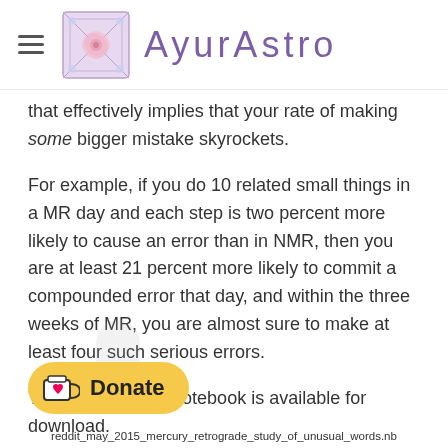AyurAstro
that effectively implies that your rate of making some bigger mistake skyrockets.
For example, if you do 10 related small things in a MR day and each step is two percent more likely to cause an error than in NMR, then you are at least 21 percent more likely to commit a compounded error that day, and within the three weeks of MR, you are almost sure to make at least four such serious errors.
The Mathematica notebook is available for download.
[Figure (logo): Ko-fi style donate button with coffee cup icon and heart, yellow pill-shaped button reading Donate]
reddit_may_2015_mercury_retrograde_study_of_unusual_words.nb